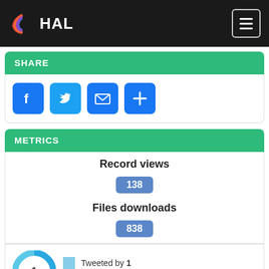HAL
SHARE
[Figure (infographic): Social share buttons: Facebook, Twitter, Email, Plus]
METRICS
Record views
138
Files downloads
838
[Figure (infographic): Altmetric donut badge showing score 1, tweeted by 1, 48 readers on Mendeley]